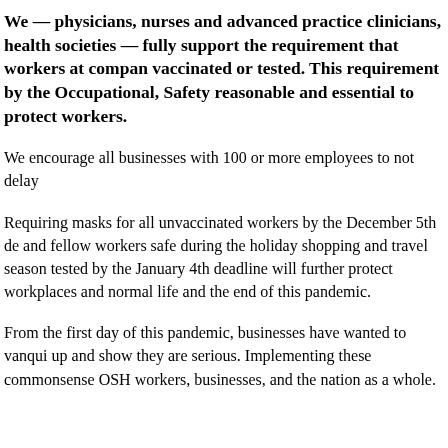We — physicians, nurses and advanced practice clinicians, health societies — fully support the requirement that workers at companies be vaccinated or tested. This requirement by the Occupational, Safety is reasonable and essential to protect workers.
We encourage all businesses with 100 or more employees to not delay.
Requiring masks for all unvaccinated workers by the December 5th deadline and fellow workers safe during the holiday shopping and travel season. Getting tested by the January 4th deadline will further protect workplaces and normal life and the end of this pandemic.
From the first day of this pandemic, businesses have wanted to vanquish it. Step up and show they are serious. Implementing these commonsense OSHA rules for workers, businesses, and the nation as a whole.